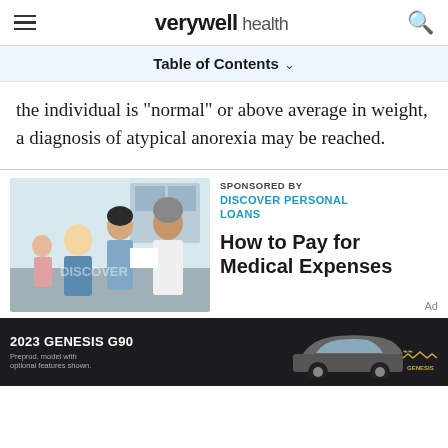verywell health
Table of Contents
the individual is "normal" or above average in weight, a diagnosis of atypical anorexia may be reached.
[Figure (photo): Doctor in white coat showing paper to a patient in a medical office, with another person in background. Watermark reads DISCOVER.]
SPONSORED BY
DISCOVER PERSONAL LOANS

How to Pay for Medical Expenses
[Figure (photo): 2023 Genesis G90 luxury sedan advertisement. Text: '2023 GENESIS G90. Preprod. model with optional features shown.' Genesis logo with wings emblem.]